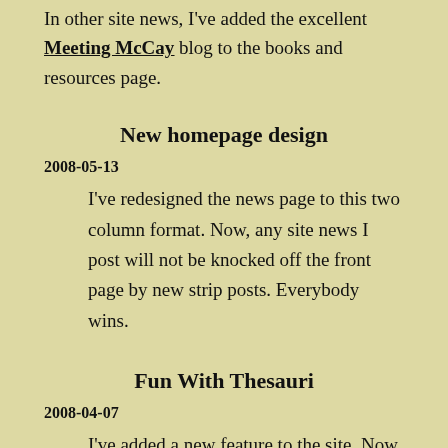In other site news, I've added the excellent Meeting McCay blog to the books and resources page.
New homepage design
2008-05-13
I've redesigned the news page to this two column format. Now, any site news I post will not be knocked off the front page by new strip posts. Everybody wins.
Fun With Thesauri
2008-04-07
I've added a new feature to the site. Now, when you